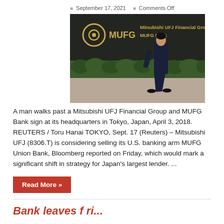September 17, 2021   Comments Off
[Figure (photo): A man in a business suit walks past a dark sign showing the MUFG logo and text 'Mitsubishi UFJ Financial Group MUFG Bank' with gold lettering, hedges visible below, Tokyo headquarters.]
A man walks past a Mitsubishi UFJ Financial Group and MUFG Bank sign at its headquarters in Tokyo, Japan, April 3, 2018. REUTERS / Toru Hanai TOKYO, Sept. 17 (Reuters) – Mitsubishi UFJ (8306.T) is considering selling its U.S. banking arm MUFG Union Bank, Bloomberg reported on Friday, which would mark a significant shift in strategy for Japan's largest lender. ...
Read More »